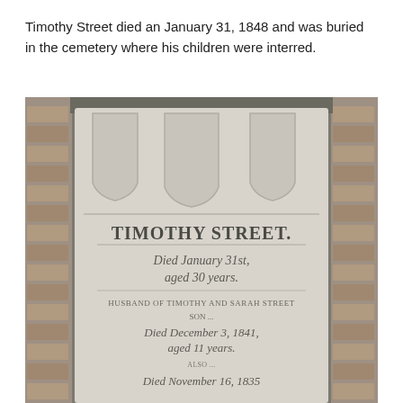Timothy Street died an January 31, 1848 and was buried in the cemetery where his children were interred.
[Figure (photo): Photograph of a marble gravestone for Timothy Street set between stone brick walls. The gravestone shows decorative carved arches at the top, and inscribed text reading 'TIMOTHY STREET, Died January 31st, aged 30 years.' followed by additional partially legible inscriptions about other family members.]